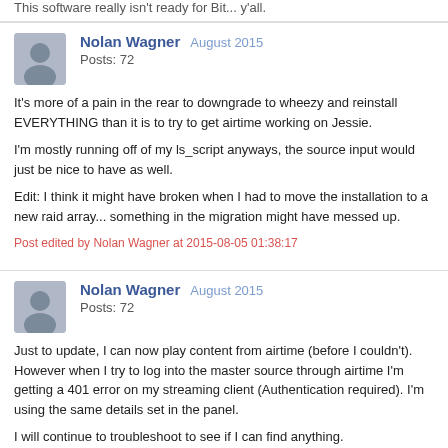This software really isn't ready for Bit... y'all.
Nolan Wagner  August 2015
Posts: 72
It's more of a pain in the rear to downgrade to wheezy and reinstall EVERYTHING than it is to try to get airtime working on Jessie.

I'm mostly running off of my ls_script anyways, the source input would just be nice to have as well.

Edit: I think it might have broken when I had to move the installation to a new raid array... something in the migration might have messed up.
Post edited by Nolan Wagner at 2015-08-05 01:38:17
Nolan Wagner  August 2015
Posts: 72
Just to update, I can now play content from airtime (before I couldn't). However when I try to log into the master source through airtime I'm getting a 401 error on my streaming client (Authentication required). I'm using the same details set in the panel.

I will continue to troubleshoot to see if I can find anything.

Edit now logs: